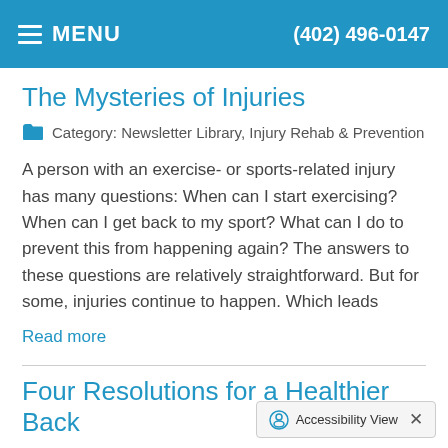MENU   (402) 496-0147
The Mysteries of Injuries
Category: Newsletter Library, Injury Rehab & Prevention
A person with an exercise- or sports-related injury has many questions: When can I start exercising? When can I get back to my sport? What can I do to prevent this from happening again? The answers to these questions are relatively straightforward. But for some, injuries continue to happen. Which leads
Read more
Four Resolutions for a Healthier Back